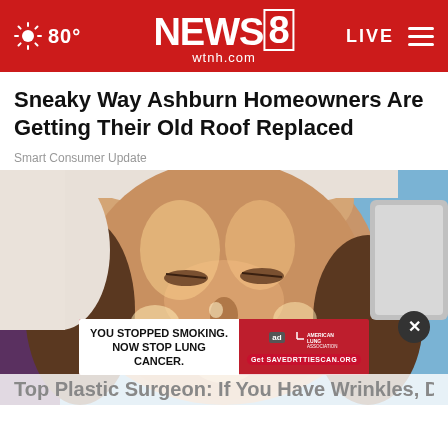80° NEWS 8 wtnh.com LIVE
Sneaky Way Ashburn Homeowners Are Getting Their Old Roof Replaced
Smart Consumer Update
[Figure (photo): Woman lying down with a glossy face treatment applied, eyes closed, wearing a white towel wrap. Blue background visible. Advertisement overlay at bottom: 'YOU STOPPED SMOKING. NOW STOP LUNG CANCER.' from American Lung Association with URL savedrttiescan.org. Close button (X) on right side.]
Top Plastic Surgeon: If You Have Wrinkles, Do